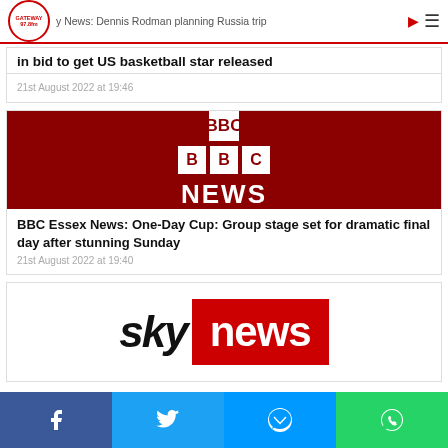Gateway 97.8fm
Key News: Dennis Rodman planning Russia trip in bid to get US basketball star released
21st August 2022 at 19:46
[Figure (logo): BBC News logo on dark red background]
BBC Essex News: One-Day Cup: Group stage set for dramatic final day after stunning Sunday
21st August 2022 at 19:40
[Figure (logo): Sky News logo: sky in black italic text, news in white on red background]
Social share buttons: Facebook, Twitter, Messenger, WhatsApp